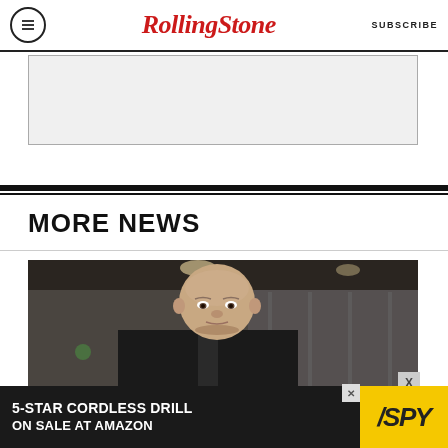Rolling Stone — SUBSCRIBE
[Figure (other): Advertisement placeholder box (gray rectangle)]
MORE NEWS
[Figure (photo): Photograph of an elderly bald man in a suit, looking at the camera, in an indoor setting with blurred background lighting]
[Figure (other): Bottom advertisement banner: '5-Star Cordless Drill on Sale at Amazon' with SPY logo on yellow background]